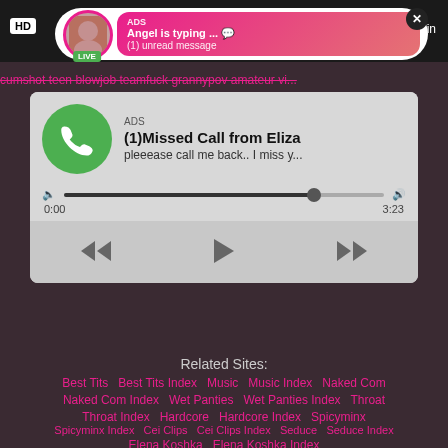[Figure (screenshot): Live cam notification bubble with avatar, LIVE badge, ADS label, 'Angel is typing... (1) unread message' on pink gradient, close X button, HD badge top left, min label top right]
cumshot teen blowjob teamfuck grannypov amateur vi...
[Figure (screenshot): Audio player ad card with green phone icon circle, ADS label, title '(1)Missed Call from Eliza', subtitle 'pleeease call me back.. I miss y...', progress bar with thumb, time 0:00 and 3:23, playback controls rewind play fast-forward]
Related Sites:
Best Tits   Best Tits Index   Music   Music Index   Naked Com
Naked Com Index   Wet Panties   Wet Panties Index   Throat
Throat Index   Hardcore   Hardcore Index   Spicyminx
Spicyminx Index   Cei Clips   Cei Clips Index   Seduce   Seduce Index
Elena Koshka   Elena Koshka Index